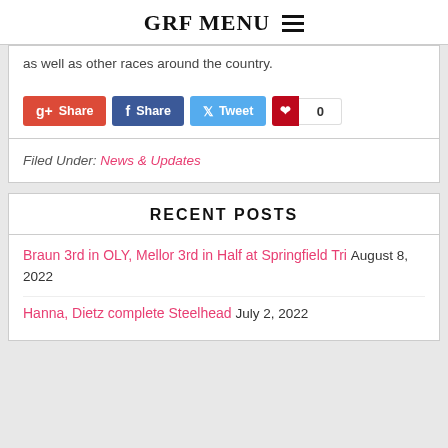GRF MENU
as well as other races around the country.
Filed Under: News & Updates
RECENT POSTS
Braun 3rd in OLY, Mellor 3rd in Half at Springfield Tri August 8, 2022
Hanna, Dietz complete Steelhead July 2, 2022